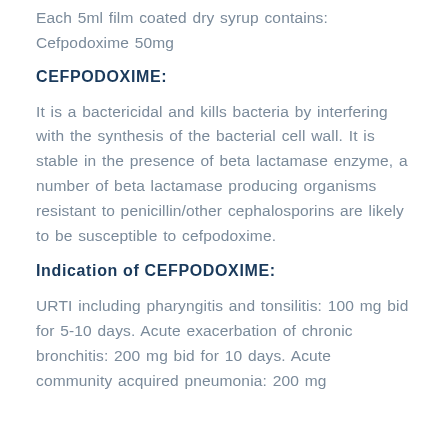Each 5ml film coated dry syrup contains:
Cefpodoxime 50mg
CEFPODOXIME:
It is a bactericidal and kills bacteria by interfering with the synthesis of the bacterial cell wall. It is stable in the presence of beta lactamase enzyme, a number of beta lactamase producing organisms resistant to penicillin/other cephalosporins are likely to be susceptible to cefpodoxime.
Indication of CEFPODOXIME:
URTI including pharyngitis and tonsilitis: 100 mg bid for 5-10 days. Acute exacerbation of chronic bronchitis: 200 mg bid for 10 days. Acute community acquired pneumonia: 200 mg